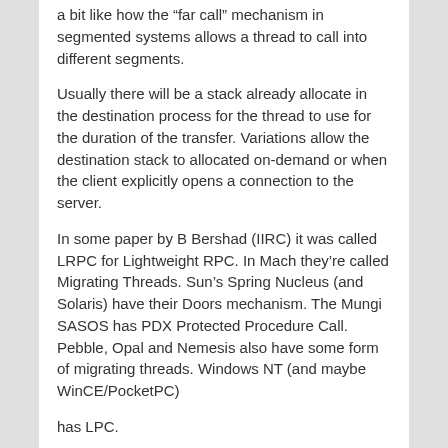a bit like how the “far call” mechanism in segmented systems allows a thread to call into different segments.
Usually there will be a stack already allocate in the destination process for the thread to use for the duration of the transfer. Variations allow the destination stack to allocated on-demand or when the client explicitly opens a connection to the server.
In some paper by B Bershad (IIRC) it was called LRPC for Lightweight RPC. In Mach they’re called Migrating Threads. Sun’s Spring Nucleus (and Solaris) have their Doors mechanism. The Mungi SASOS has PDX Protected Procedure Call. Pebble, Opal and Nemesis also have some form of migrating threads. Windows NT (and maybe WinCE/PocketPC)
has LPC.
The terminology related to the threads